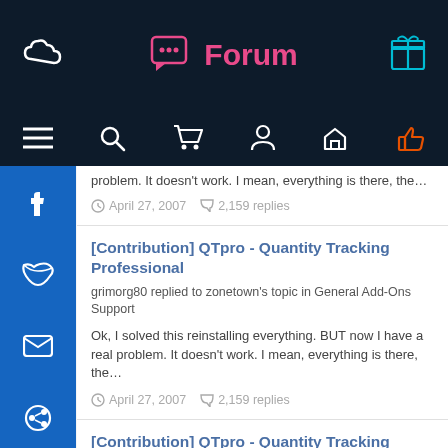Forum
problem. It doesn't work. I mean, everything is there, the…
April 27, 2007   2,159 replies
[Contribution] QTpro - Quantity Tracking Professional
grimorg80 replied to zonetown's topic in General Add-Ons Support
Ok, I solved this reinstalling everything. BUT now I have a real problem. It doesn't work. I mean, everything is there, the…
April 27, 2007   2,159 replies
[Contribution] QTpro - Quantity Tracking Professional
Professional